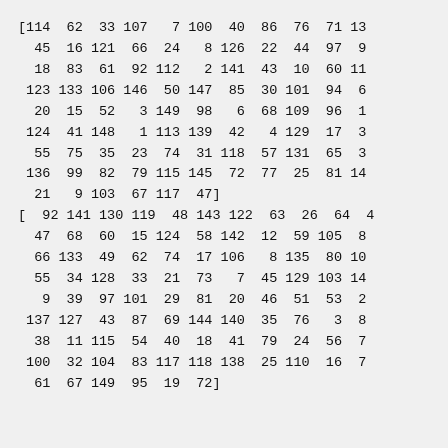[114  62  33 107   7 100  40  86  76  71 13
  45  16 121  66  24   8 126  22  44  97  9
  18  83  61  92 112   2 141  43  10  60 11
 123 133 106 146  50 147  85  30 101  94  6
  20  15  52   3 149  98   6  68 109  96  1
 124  41 148   1 113 139  42   4 129  17  3
  55  75  35  23  74  31 118  57 131  65  3
 136  99  82  79 115 145  72  77  25  81 14
  21   9 103  67 117  47]
[  92 141 130 119  48 143 122  63  26  64  4
  47  68  60  15 124  58 142  12  59 105  8
  66 133  49  62  74  17 106   8 135  80 10
  55  34 128  33  21  73   7  45 129 103 14
   9  39  97 101  29  81  20  46  51  53  2
 137 127  43  87  69 144 140  35  76   3  8
  38  11 115  54  40  18  41  79  24  56  7
 100  32 104  83 117 118 138  25 110  16  7
  61  67 149  95  19  72]